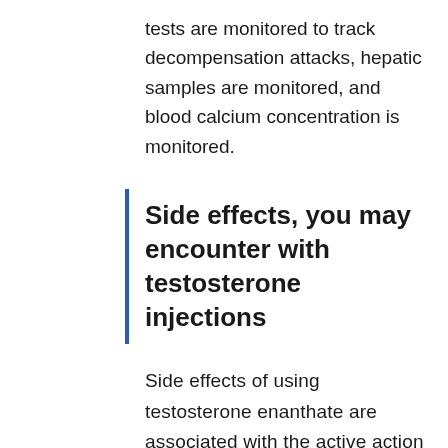tests are monitored to track decompensation attacks, hepatic samples are monitored, and blood calcium concentration is monitored.
Side effects, you may encounter with testosterone injections
Side effects of using testosterone enanthate are associated with the active action of androgens. As with all steroids, some users will experience the onset of unwanted side effects while others can cruise through a steroid cycle with ease.